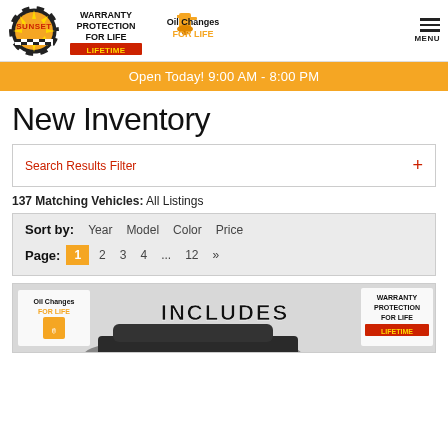[Figure (logo): Sunset dealership logo with circular checkered design, Warranty Protection For Life badge, Oil Changes For Life badge, and hamburger menu icon]
Open Today! 9:00 AM - 8:00 PM
New Inventory
Search Results Filter +
137 Matching Vehicles: All Listings
Sort by: Year Model Color Price
Page: 1 2 3 4 ... 12 »
[Figure (photo): Car listing image with Oil Changes For Life logo, INCLUDES text, Warranty Protection For Life badge, and a dark car at bottom]